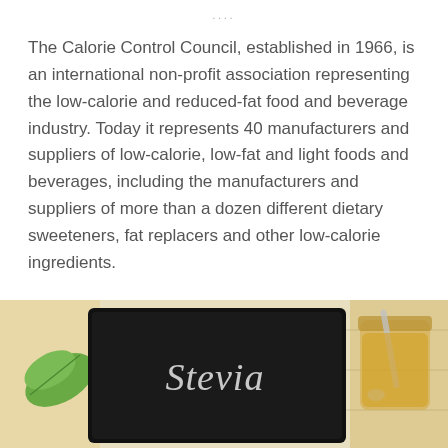...
The Calorie Control Council, established in 1966, is an international non-profit association representing the low-calorie and reduced-fat food and beverage industry. Today it represents 40 manufacturers and suppliers of low-calorie, low-fat and light foods and beverages, including the manufacturers and suppliers of more than a dozen different dietary sweeteners, fat replacers and other low-calorie ingredients.
[Figure (photo): Photo of a black chalkboard sign with 'Stevia' written in chalk cursive, with a green leaf and a glass jar with honey and a spoon visible on the right side, on a light wooden background.]